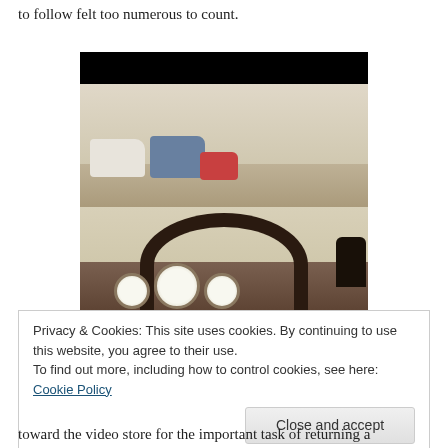to follow felt too numerous to count.
[Figure (photo): View from inside a car, looking through the windshield at traffic on a road. The dashboard with steering wheel and gauge cluster is visible in the lower portion. A black bar appears at the top of the image.]
Privacy & Cookies: This site uses cookies. By continuing to use this website, you agree to their use.
To find out more, including how to control cookies, see here: Cookie Policy
[Close and accept button]
toward the video store for the important task of returning a